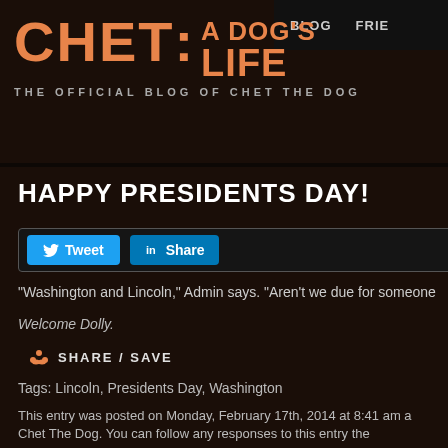BLOG  FRIE
[Figure (logo): CHET: A DOG'S LIFE logo in orange with tagline THE OFFICIAL BLOG OF CHET THE DOG]
HAPPY PRESIDENTS DAY!
[Figure (infographic): Social sharing bar with Tweet button (Twitter/blue) and Share button (LinkedIn/blue)]
"Washington and Lincoln," Admin says. "Aren't we due for someone
Welcome Dolly.
SHARE / SAVE
Tags: Lincoln, Presidents Day, Washington
This entry was posted on Monday, February 17th, 2014 at 8:41 am a Chet The Dog. You can follow any responses to this entry the